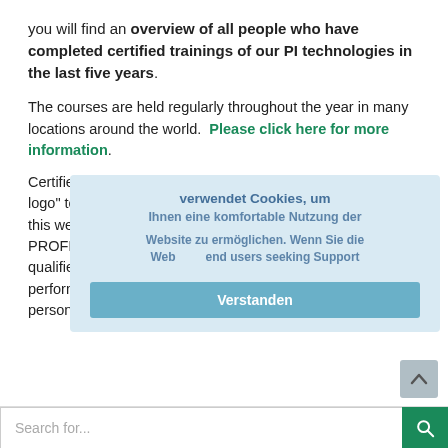you will find an overview of all people who have completed certified trainings of our PI technologies in the last five years.
The courses are held regularly throughout the year in many locations around the world.  Please click here for more information.
Certified Engineers or Installers can utilize the "Certified-logo" to confirm their status. Their names are also listed on this web site so that end users seeking support for their PROFIBUS or PROFINET networks can easily find a suitably qualified candidate. Using certified staff ensures that work is performed to the highest standards and by qualified personnel who are fully briefed in the latest techniques.
[Figure (screenshot): Cookie consent overlay in German reading 'verwendet Cookies, um Ihnen eine komfortable Nutzung der Website zu ermöglichen. Wenn Sie die...' with a 'Verstanden' button]
Search for...